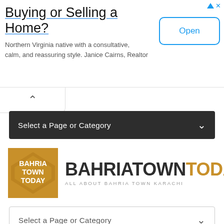[Figure (infographic): Advertisement banner: 'Buying or Selling a Home?' with subtitle 'Northern Virginia native with a consultative, calm, and reassuring style. Janice Cairns, Realtor' and an 'Open' button]
[Figure (other): Collapse/chevron-up button area]
Select a Page or Category
[Figure (logo): Bahria Town Today logo with icon and text 'BAHRIATOWNTODAY ALL ABOUT BAHRIA TOWN KARACHI']
Select a Page or Category
[Figure (infographic): Jakvani Midway Tower advertisement: 'JAKVANI is one of the —midway tower— FIRST COMMERCIAL PROPERTY DEVELOPMENTS BY Citi Associates' with building image and quotation marks graphic]